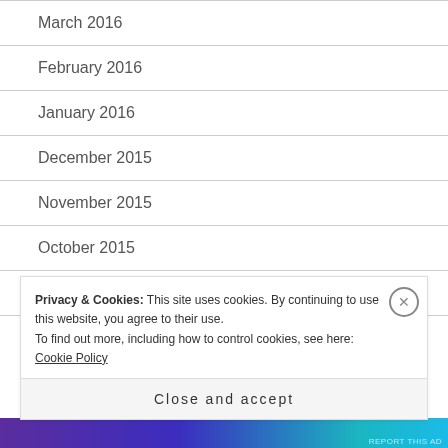March 2016
February 2016
January 2016
December 2015
November 2015
October 2015
September 2015
August 2015
Privacy & Cookies: This site uses cookies. By continuing to use this website, you agree to their use.
To find out more, including how to control cookies, see here: Cookie Policy
Close and accept